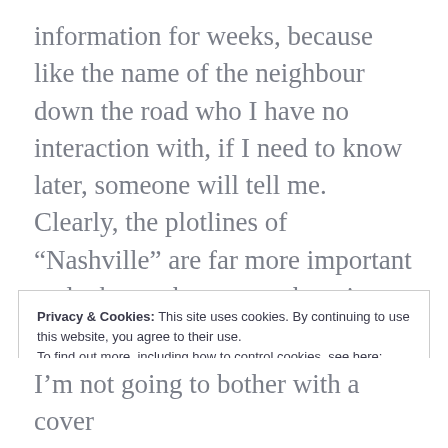information for weeks, because like the name of the neighbour down the road who I have no interaction with, if I need to know later, someone will tell me. Clearly, the plotlines of “Nashville” are far more important and take up the space otherwise allocated to such unnecessary things like books I can’t read and names.
Privacy & Cookies: This site uses cookies. By continuing to use this website, you agree to their use.
To find out more, including how to control cookies, see here:
Cookie Policy
I’m not going to bother with a cover